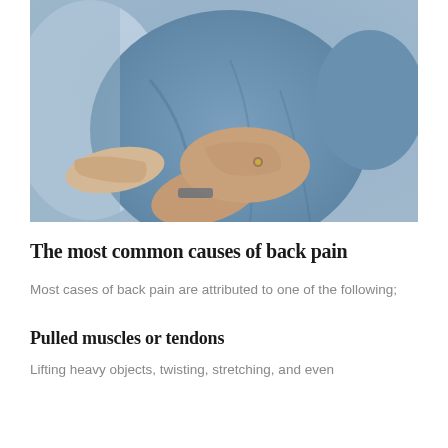[Figure (photo): A person in a blue shirt holding their midsection/abdomen with one hand, suggesting abdominal or back pain. The person is seated and another person's hand (possibly a healthcare provider) is touching their side.]
The most common causes of back pain
Most cases of back pain are attributed to one of the following;
Pulled muscles or tendons
Lifting heavy objects, twisting, stretching, and even